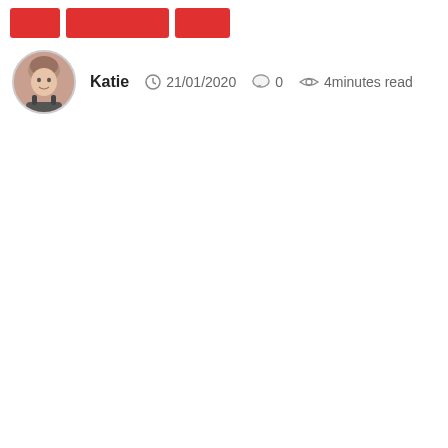[navigation buttons]
Katie  21/01/2020  0  4minutes read